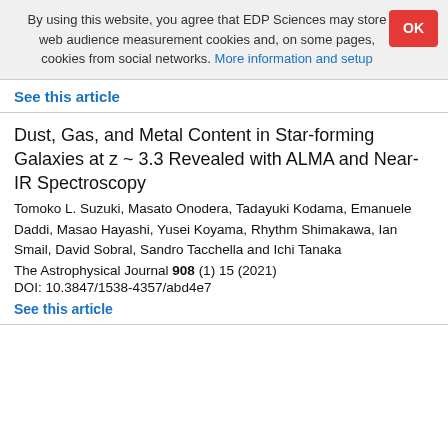By using this website, you agree that EDP Sciences may store web audience measurement cookies and, on some pages, cookies from social networks. More information and setup
See this article
Dust, Gas, and Metal Content in Star-forming Galaxies at z ~ 3.3 Revealed with ALMA and Near-IR Spectroscopy
Tomoko L. Suzuki, Masato Onodera, Tadayuki Kodama, Emanuele Daddi, Masao Hayashi, Yusei Koyama, Rhythm Shimakawa, Ian Smail, David Sobral, Sandro Tacchella and Ichi Tanaka
The Astrophysical Journal 908 (1) 15 (2021)
DOI: 10.3847/1538-4357/abd4e7
See this article